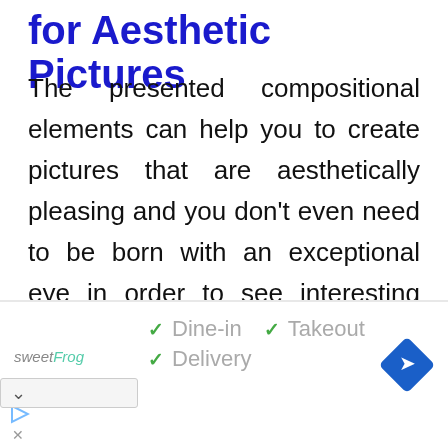for Aesthetic Pictures
The presented compositional elements can help you to create pictures that are aesthetically pleasing and you don't even need to be born with an exceptional eye in order to see interesting images. Also, keep in mind that everybody has this sense of aesthetic. The difference is in being able to
ain and recreate eye-pleasing pictures or
[Figure (screenshot): Advertisement banner for sweetFrog restaurant showing dine-in, takeout, and delivery options with checkmarks, sweetFrog logo, and a navigation arrow icon]